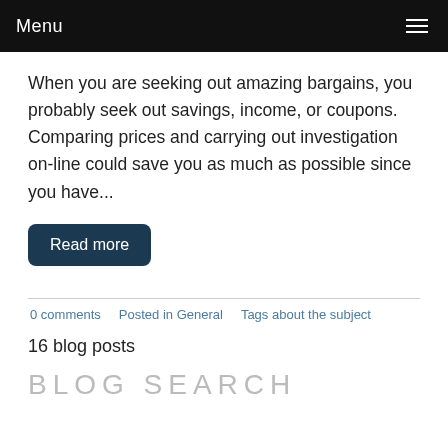Menu
When you are seeking out amazing bargains, you probably seek out savings, income, or coupons. Comparing prices and carrying out investigation on-line could save you as much as possible since you have...
Read more
0 comments   Posted in General   Tags about the subject
16 blog posts
BLOG SEARCH